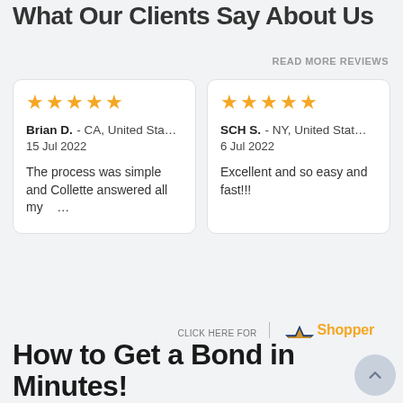What Our Clients Say About Us
READ MORE REVIEWS
Brian D. - CA, United Sta... | 15 Jul 2022 | The process was simple and Collette answered all my ...
SCH S. - NY, United Stat... | 6 Jul 2022 | Excellent and so easy and fast!!!
CLICK HERE FOR MORE REVIEWS | Shopper Approved
How to Get a Bond in Minutes!